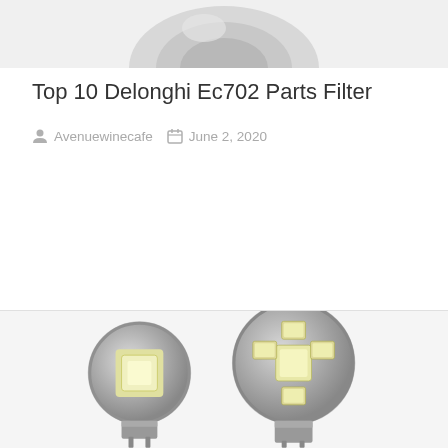[Figure (photo): Partially visible product image at top of page — appears to be a round/dome-shaped product on light grey background]
Top 10 Delonghi Ec702 Parts Filter
Avenuewinecafe   June 2, 2020
[Figure (photo): Two LED bulbs (T10 wedge type) with SMD LED chips visible, photographed on white/light grey background]